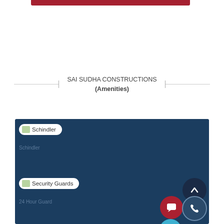[Figure (other): Red button/bar at top of page]
SAI SUDHA CONSTRUCTIONS
(Amenities)
[Figure (screenshot): Dark blue amenities panel showing badges: Schindler (elevator), Security Guards, Spacious Car Parking with navigation buttons (up arrow, prev, next, chat, phone)]